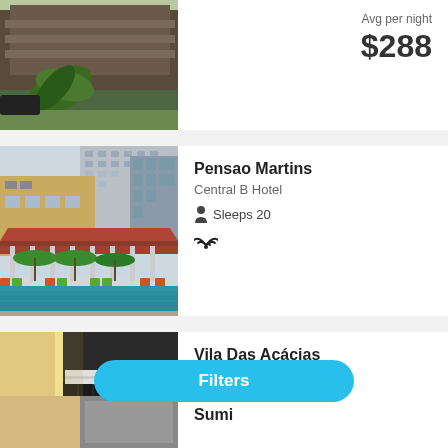[Figure (photo): Partial view of a building exterior with tropical plants, top portion of hotel photo]
Avg per night
$288
[Figure (photo): Pensao Martins hotel exterior showing yellow building, red-roofed pergola, green umbrellas, pool area]
Pensao Martins
Central B Hotel
Sleeps 20
WiFi icon
[Figure (photo): Vila Das Acácias hotel interior showing modern reception area with dark textured wall panels and warm lighting]
Vila Das Acácias
Central B Hotel
Sleeps 20
WiFi and Parking icons
Filters
[Figure (photo): Partial bottom card showing hotel photo]
Sumi